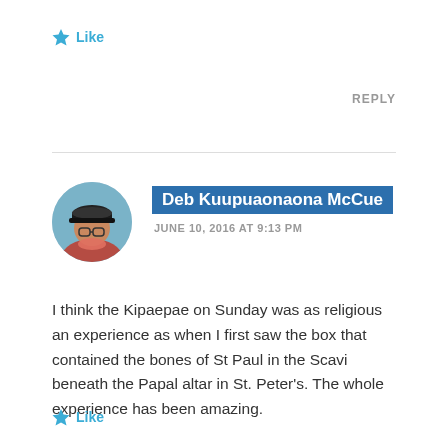★ Like
REPLY
[Figure (photo): Circular avatar photo of Deb Kuupuaonaona McCue, a woman wearing a dark cap and glasses, outdoors with a blue/water background]
Deb Kuupuaonaona McCue
JUNE 10, 2016 AT 9:13 PM
I think the Kipaepae on Sunday was as religious an experience as when I first saw the box that contained the bones of St Paul in the Scavi beneath the Papal altar in St. Peter's. The whole experience has been amazing.
★ Like